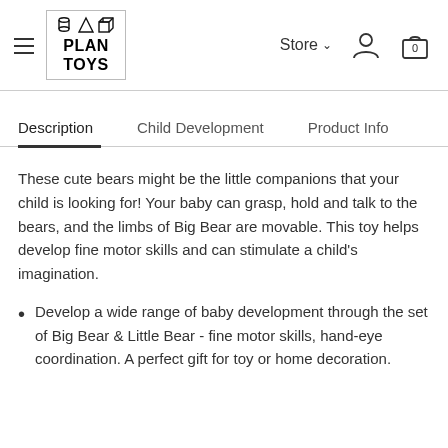PlanToys — Store navigation header
Description | Child Development | Product Info
These cute bears might be the little companions that your child is looking for! Your baby can grasp, hold and talk to the bears, and the limbs of Big Bear are movable. This toy helps develop fine motor skills and can stimulate a child's imagination.
Develop a wide range of baby development through the set of Big Bear & Little Bear - fine motor skills, hand-eye coordination. A perfect gift for toy or home decoration.